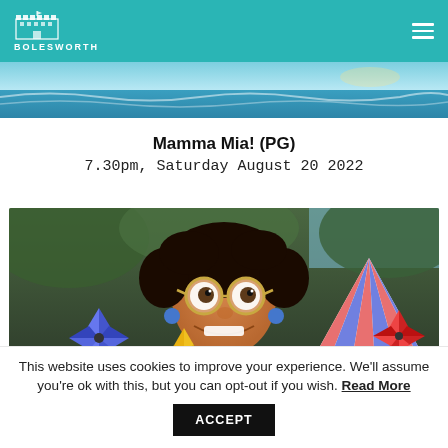[Figure (logo): Bolesworth castle logo with white building icon and BOLESWORTH text on teal header bar]
[Figure (photo): Movie banner image showing sea/water scene, partially cropped at top]
Mamma Mia! (PG)
7.30pm, Saturday August 20 2022
[Figure (photo): Animated character from Encanto - young girl with round glasses, curly hair, smiling, with colorful pinwheels and striped party hat in background]
This website uses cookies to improve your experience. We'll assume you're ok with this, but you can opt-out if you wish. Read More ACCEPT